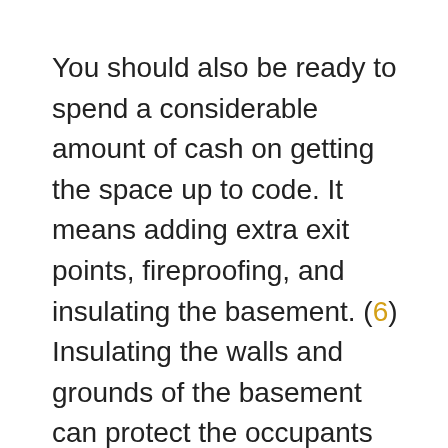You should also be ready to spend a considerable amount of cash on getting the space up to code. It means adding extra exit points, fireproofing, and insulating the basement. (6) Insulating the walls and grounds of the basement can protect the occupants from low temperatures and noises. (5)
You will also have to waterproof the entire space and update the electrical and plumbing lines. Occupants of basement